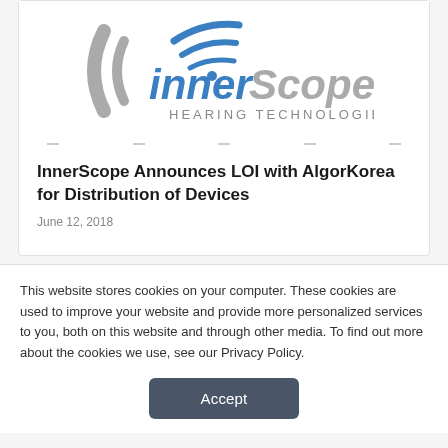[Figure (logo): InnerScope Hearing Technologies logo with blue and gray text and a stylized ear/sound wave graphic]
InnerScope Announces LOI with AlgorKorea for Distribution of Devices
June 12, 2018
This website stores cookies on your computer. These cookies are used to improve your website and provide more personalized services to you, both on this website and through other media. To find out more about the cookies we use, see our Privacy Policy.
Accept